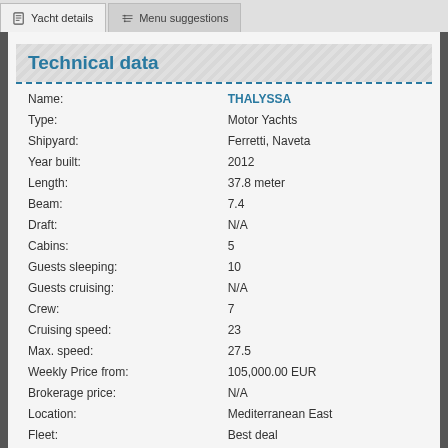Yacht details | Menu suggestions
Technical data
| Field | Value |
| --- | --- |
| Name: | THALYSSA |
| Type: | Motor Yachts |
| Shipyard: | Ferretti, Naveta |
| Year built: | 2012 |
| Length: | 37.8 meter |
| Beam: | 7.4 |
| Draft: | N/A |
| Cabins: | 5 |
| Guests sleeping: | 10 |
| Guests cruising: | N/A |
| Crew: | 7 |
| Cruising speed: | 23 |
| Max. speed: | 27.5 |
| Weekly Price from: | 105,000.00 EUR |
| Brokerage price: | N/A |
| Location: | Mediterranean East |
| Fleet: | Best deal |
Specifications